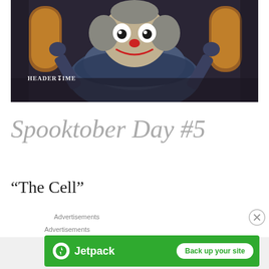[Figure (photo): A horror clown character (Pennywise from IT) in a dark blue ruffled costume against a background with stained glass windows. A watermark reads 'HeaderLime' in the lower left.]
Spooktober Day #5
“The Cell”
Advertisements
Advertisements
[Figure (infographic): Jetpack advertisement banner with green background, Jetpack logo on left and 'Back up your site' button on right.]